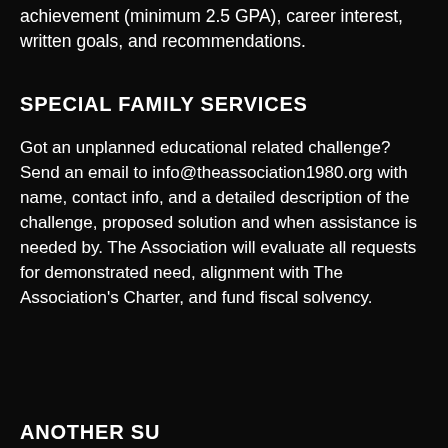achievement (minimum 2.5 GPA), career interest, written goals, and recommendations.
SPECIAL FAMILY SERVICES
Got an unplanned educational related challenge? Send an email to info@theassociation1980.org with name, contact info, and a detailed description of the challenge, proposed solution and when assistance is needed by. The Association will evaluate all requests for demonstrated need, alignment with The Association's Charter, and fund fiscal solvency.
ANOTHER SUBHEAD